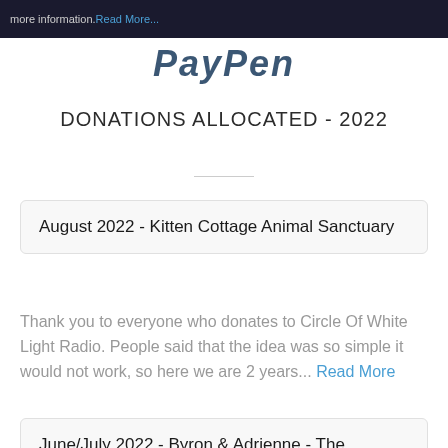more information. Read More...
[Figure (logo): Circle Of White Light Radio logo text in dark navy italic style]
DONATIONS ALLOCATED - 2022
August 2022 - Kitten Cottage Animal Sanctuary
Thank you to everyone who donates to Circle Of White Light Radio. People said that the idea was so simple it would not work, so here we are 2 years... Read More
June/July 2022 - Byron & Adrienne - The